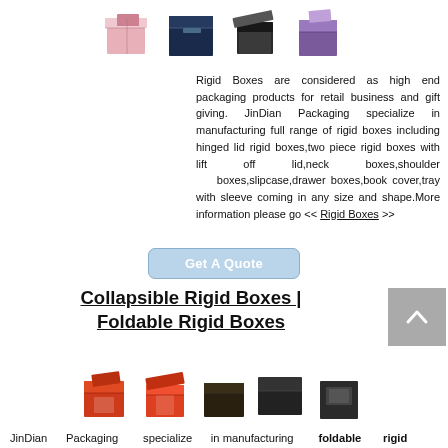[Figure (photo): Top row of rigid box product photos including pink, navy, and purple boxes]
Rigid Boxes are considered as high end packaging products for retail business and gift giving. JinDian Packaging specialize in manufacturing full range of rigid boxes including hinged lid rigid boxes,two piece rigid boxes with lift off lid,neck boxes,shoulder boxes,slipcase,drawer boxes,book cover,tray with sleeve coming in any size and shape.More information please go << Rigid Boxes >>
[Figure (other): Get A Quote button]
Collapsible Rigid Boxes | Foldable Rigid Boxes
[Figure (photo): Bottom row of collapsible/foldable rigid box product photos in red/orange and black]
JinDian Packaging specialize in manufacturing foldable rigid boxes,collapsible rigid boxes,the